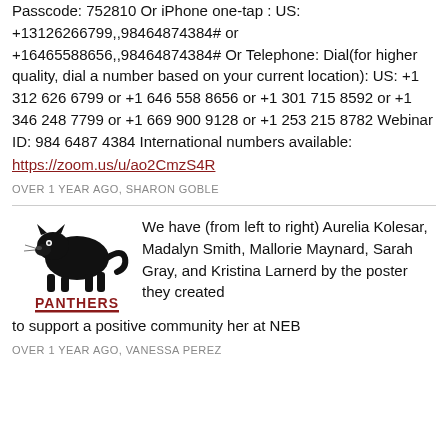Passcode: 752810 Or iPhone one-tap : US: +13126266799,,98464874384# or +16465588656,,98464874384# Or Telephone: Dial(for higher quality, dial a number based on your current location): US: +1 312 626 6799 or +1 646 558 8656 or +1 301 715 8592 or +1 346 248 7799 or +1 669 900 9128 or +1 253 215 8782 Webinar ID: 984 6487 4384 International numbers available: https://zoom.us/u/ao2CmzS4R
OVER 1 YEAR AGO, SHARON GOBLE
[Figure (logo): Panthers logo with black panther and red text]
We have (from left to right) Aurelia Kolesar, Madalyn Smith, Mallorie Maynard, Sarah Gray, and Kristina Larnerd by the poster they created to support a positive community her at NEB
OVER 1 YEAR AGO, VANESSA PEREZ